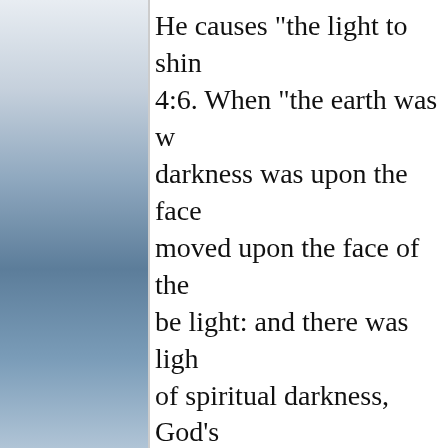He causes "the light to shin... 4:6. When "the earth was w... darkness was upon the face... moved upon the face of the... be light: and there was ligh... of spiritual darkness, God's... light." To His people He sa... come, and the glory of the ... 60:1.
Page 718
"Behold," says the Scriptu... earth, and gross darkness t... arise upon thee, and His gl... Verse 2. Christ, the outshin... the world as its light. He ca... of Him it is written that H...